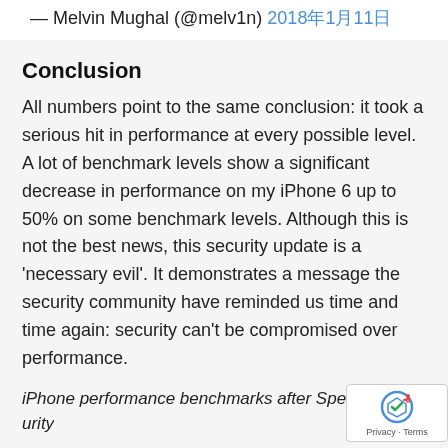— Melvin Mughal (@melv1n) 2018年1月11日
Conclusion
All numbers point to the same conclusion: it took a serious hit in performance at every possible level. A lot of benchmark levels show a significant decrease in performance on my iPhone 6 up to 50% on some benchmark levels. Although this is not the best news, this security update is a 'necessary evil'. It demonstrates a message the security community have reminded us time and time again: security can't be compromised over performance.
iPhone performance benchmarks after Spectre security update – Melv1n